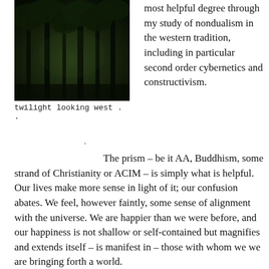[Figure (photo): Dark twilight forest scene looking west, trees silhouetted against dim greenish background]
twilight looking west . .
most helpful degree through my study of nondualism in the western tradition, including in particular second order cybernetics and constructivism.
The prism – be it AA, Buddhism, some strand of Christianity or ACIM – is simply what is helpful. Our lives make more sense in light of it; our confusion abates. We feel, however faintly, some sense of alignment with the universe. We are happier than we were before, and our happiness is not shallow or self-contained but magnifies and extends itself – is manifest in – those with whom we we are bringing forth a world.